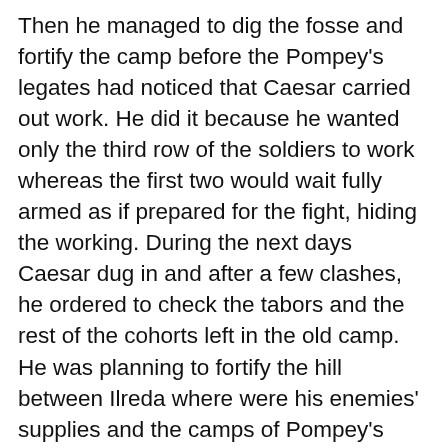Then he managed to dig the fosse and fortify the camp before the Pompey's legates had noticed that Caesar carried out work. He did it because he wanted only the third row of the soldiers to work whereas the first two would wait fully armed as if prepared for the fight, hiding the working. During the next days Caesar dug in and after a few clashes, he ordered to check the tabors and the rest of the cohorts left in the old camp. He was planning to fortify the hill between Ilreda where were his enemies' supplies and the camps of Pompey's legates. Having noticed the move of Caesar, Afranius sent the part of his legions to stop him. At short notice, a fight ensued. In the beginning, Caesar had to pull out because there was a mess in the troop formation . He called the IX legion for help. Thanks to the reinforcement Caesar forced his enemies to retreat under the walls of Ilreda, but in the pursuit of the escaping, the IX legion went too far and the Afranius' counterattack began. The battle lasted for 5 hours in the narrow corridor where the cavalry's help was impossible. A heroic attack let the Caesar's